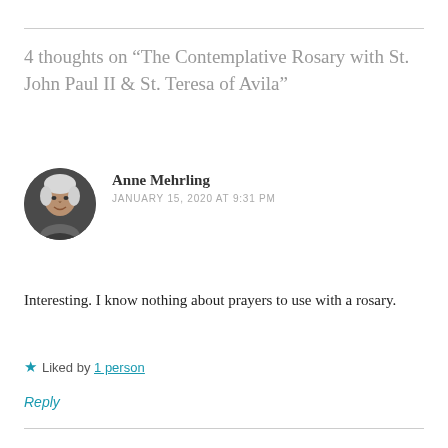4 thoughts on “The Contemplative Rosary with St. John Paul II & St. Teresa of Avila”
Anne Mehrling
JANUARY 15, 2020 AT 9:31 PM
Interesting. I know nothing about prayers to use with a rosary.
★ Liked by 1 person
Reply